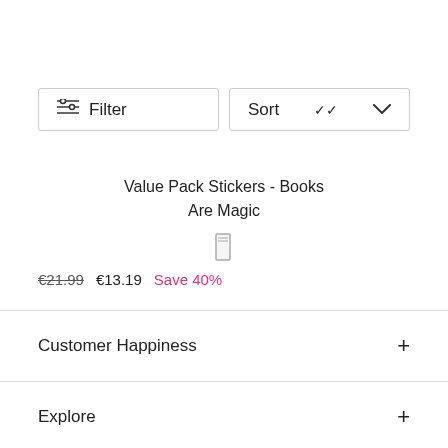Filter
Sort
Value Pack Stickers - Books Are Magic
€21.99  €13.19  Save 40%
Customer Happiness +
Explore +